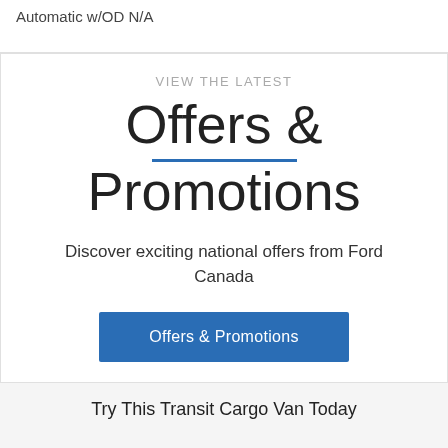Automatic w/OD N/A
VIEW THE LATEST
Offers & Promotions
Discover exciting national offers from Ford Canada
Offers & Promotions
Try This Transit Cargo Van Today